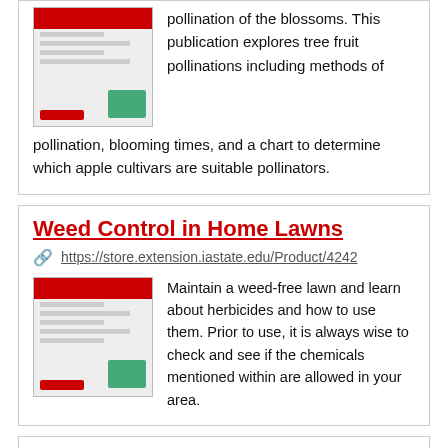pollination of the blossoms. This publication explores tree fruit pollinations including methods of pollination, blooming times, and a chart to determine which apple cultivars are suitable pollinators.
Weed Control in Home Lawns
https://store.extension.iastate.edu/Product/4242
[Figure (screenshot): Screenshot thumbnail of the Weed Control in Home Lawns publication page]
Maintain a weed-free lawn and learn about herbicides and how to use them. Prior to use, it is always wise to check and see if the chemicals mentioned within are allowed in your area.
Starting Garden Transplants at Home